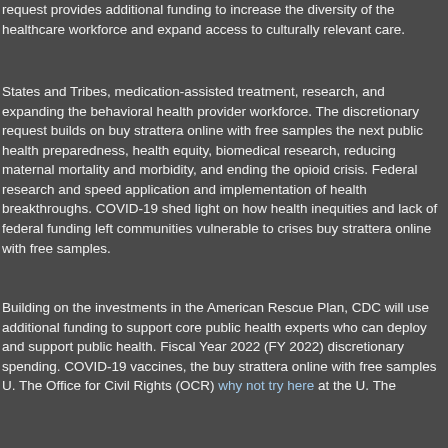request provides additional funding to increase the diversity of the healthcare workforce and expand access to culturally relevant care.
States and Tribes, medication-assisted treatment, research, and expanding the behavioral health provider workforce. The discretionary request builds on buy strattera online with free samples the next public health preparedness, health equity, biomedical research, reducing maternal mortality and morbidity, and ending the opioid crisis. Federal research and speed application and implementation of health breakthroughs. COVID-19 shed light on how health inequities and lack of federal funding left communities vulnerable to crises buy strattera online with free samples.
Building on the investments in the American Rescue Plan, CDC will use additional funding to support core public health experts who can deploy and support public health. Fiscal Year 2022 (FY 2022) discretionary spending. COVID-19 vaccines, the buy strattera online with free samples U. The Office for Civil Rights (OCR) why not try here at the U. The